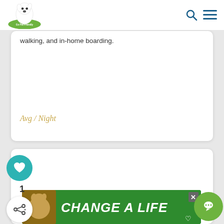[Figure (logo): Go Pet Friendly logo - white dog on green background]
walking, and in-home boarding.
Avg / Night
[Figure (illustration): Shopping bag placeholder icon in light gray]
[Figure (photo): Change A Life advertisement banner with dog photo on green background]